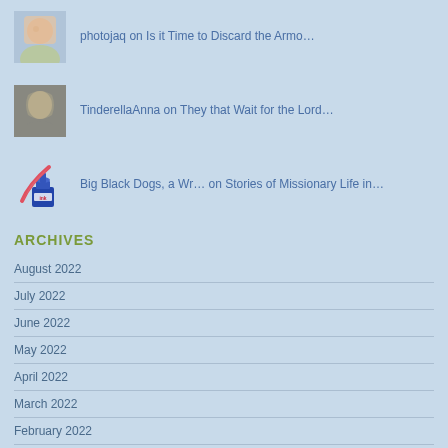photojaq on Is it Time to Discard the Armo…
TinderellaAnna on They that Wait for the Lord…
Big Black Dogs, a Wr… on Stories of Missionary Life in…
ARCHIVES
August 2022
July 2022
June 2022
May 2022
April 2022
March 2022
February 2022
January 2022